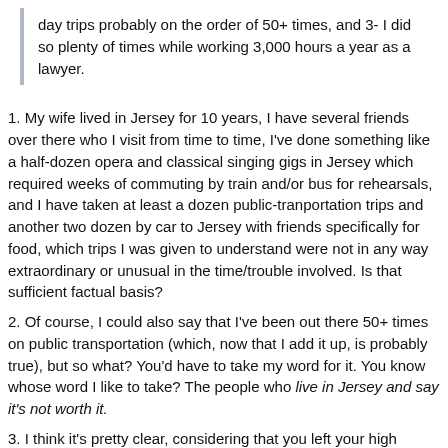day trips probably on the order of 50+ times, and 3- I did so plenty of times while working 3,000 hours a year as a lawyer.
1. My wife lived in Jersey for 10 years, I have several friends over there who I visit from time to time, I've done something like a half-dozen opera and classical singing gigs in Jersey which required weeks of commuting by train and/or bus for rehearsals, and I have taken at least a dozen public-tranportation trips and another two dozen by car to Jersey with friends specifically for food, which trips I was given to understand were not in any way extraordinary or unusual in the time/trouble involved. Is that sufficient factual basis?
2. Of course, I could also say that I've been out there 50+ times on public transportation (which, now that I add it up, is probably true), but so what? You'd have to take my word for it. You know whose word I like to take? The people who live in Jersey and say it's not worth it.
3. I think it's pretty clear, considering that you left your high earning career as a lawyer to pursue a low-earning career as a professional foodie demonstrates that you have priorities that are not the same as most people working a 9 to 5 (or 9 to 9 as